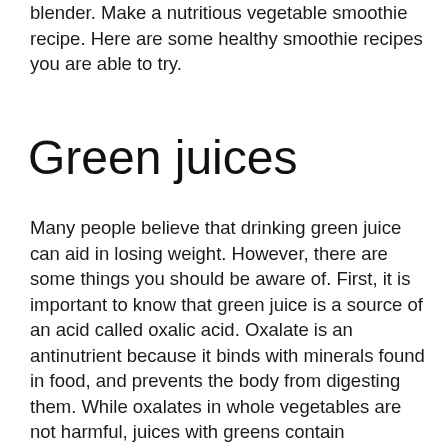blender. Make a nutritious vegetable smoothie recipe. Here are some healthy smoothie recipes you are able to try.
Green juices
Many people believe that drinking green juice can aid in losing weight. However, there are some things you should be aware of. First, it is important to know that green juice is a source of an acid called oxalic acid. Oxalate is an antinutrient because it binds with minerals found in food, and prevents the body from digesting them. While oxalates in whole vegetables are not harmful, juices with greens contain concentrated amounts, which can cause kidney stones or failure. In fact there have